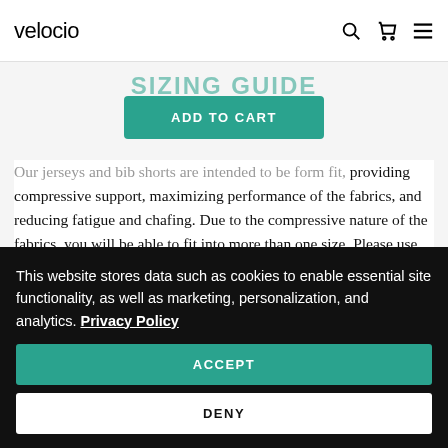velocio
SIZING GUIDE
ADD TO CART
Our jerseys and bib shorts are intended to be form fit, providing compressive support, maximizing performance of the fabrics, and reducing fatigue and chafing. Due to the compressive nature of the fabrics, you will be able to fit into more than one size. Please use the charts below to help determine your optimum size:
Find your weight along the top of the table.
This website stores data such as cookies to enable essential site functionality, as well as marketing, personalization, and analytics. Privacy Policy
ACCEPT
DENY